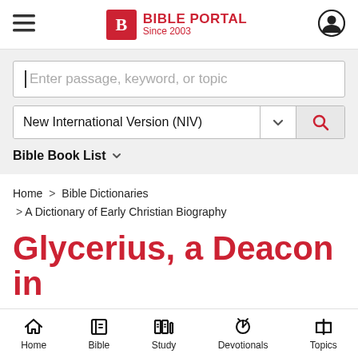BIBLE PORTAL Since 2003
[Figure (screenshot): Search box with placeholder text 'Enter passage, keyword, or topic', a Bible version selector showing 'New International Version (NIV)' with dropdown and search button, and a 'Bible Book List' dropdown below.]
Home > Bible Dictionaries > A Dictionary of Early Christian Biography
Glycerius, a Deacon in
Home  Bible  Study  Devotionals  Topics